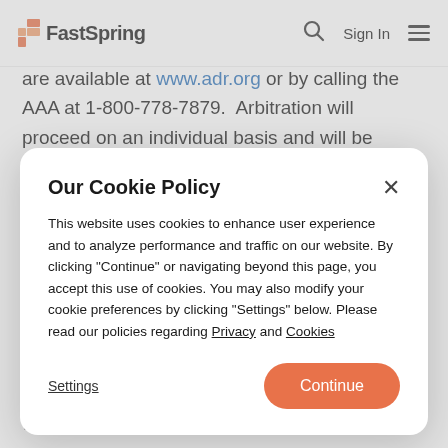FastSpring — Sign In
are available at www.adr.org or by calling the AAA at 1-800-778-7879.  Arbitration will proceed on an individual basis and will be handled by a sole arbitrator in
Our Cookie Policy
This website uses cookies to enhance user experience and to analyze performance and traffic on our website. By clicking "Continue" or navigating beyond this page, you accept this use of cookies. You may also modify your cookie preferences by clicking "Settings" below. Please read our policies regarding Privacy and Cookies
parties are unable to agree upon an arbitrator within